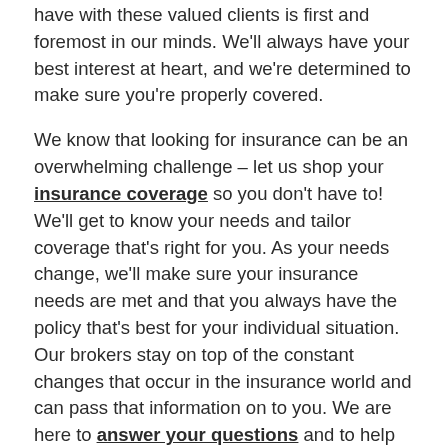have with these valued clients is first and foremost in our minds. We'll always have your best interest at heart, and we're determined to make sure you're properly covered.
We know that looking for insurance can be an overwhelming challenge – let us shop your insurance coverage so you don't have to! We'll get to know your needs and tailor coverage that's right for you. As your needs change, we'll make sure your insurance needs are met and that you always have the policy that's best for your individual situation. Our brokers stay on top of the constant changes that occur in the insurance world and can pass that information on to you. We are here to answer your questions and to help you make an informed decision.